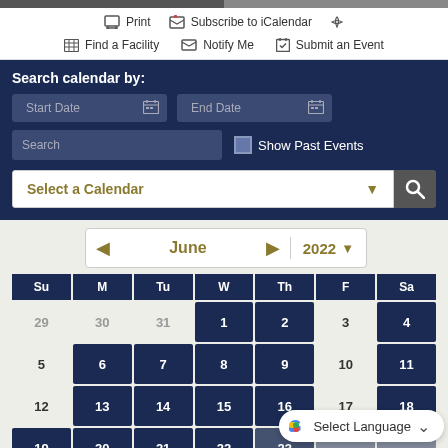[Figure (screenshot): Government website calendar interface with search filters, date inputs, and June 2022 calendar grid showing event days highlighted in navy blue]
Print   Subscribe to iCalendar
Find a Facility   Notify Me   Submit an Event
Search calendar by:
Start Date
End Date
Search
Show Past Events
Select a Calendar
June 2022
| Su | M | Tu | W | Th | F | Sa |
| --- | --- | --- | --- | --- | --- | --- |
| 29 | 30 | 31 | 1 | 2 | 3 | 4 |
| 5 | 6 | 7 | 8 | 9 | 10 | 11 |
| 12 | 13 | 14 | 15 | 16 | 17 | 18 |
| 19 | 20 | 21 | 22 | 23 |  |  |
| 26 | 27 | 28 | 29 | 30 | 1 | 2 |
Select Language